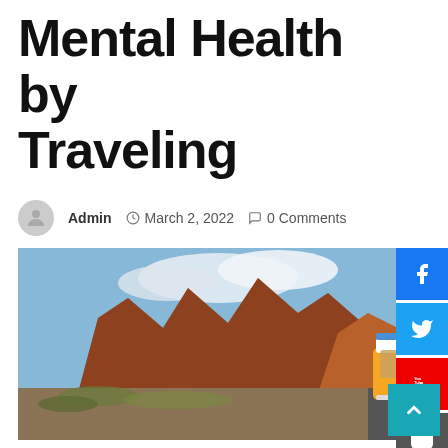Mental Health by Traveling
Admin  March 2, 2022  0 Comments
[Figure (photo): Yellow vintage VW van driving on a desert highway surrounded by red rock formations under a partly cloudy blue sky, viewed from behind.]